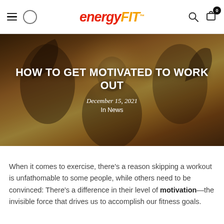energyFIT™ — navigation header with hamburger menu, logo, search, and cart icons
[Figure (photo): Hero image of a person flexing both arms raised in victory pose, backlit with warm golden light, overlaid with dark translucent filter and centered article headline text]
HOW TO GET MOTIVATED TO WORK OUT
December 15, 2021
In News
When it comes to exercise, there's a reason skipping a workout is unfathomable to some people, while others need to be convinced: There's a difference in their level of motivation—the invisible force that drives us to accomplish our fitness goals.